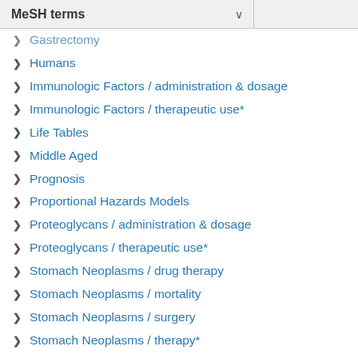MeSH terms
Gastrectomy
Humans
Immunologic Factors / administration & dosage
Immunologic Factors / therapeutic use*
Life Tables
Middle Aged
Prognosis
Proportional Hazards Models
Proteoglycans / administration & dosage
Proteoglycans / therapeutic use*
Stomach Neoplasms / drug therapy
Stomach Neoplasms / mortality
Stomach Neoplasms / surgery
Stomach Neoplasms / therapy*
Survival Analysis
Survival Rate